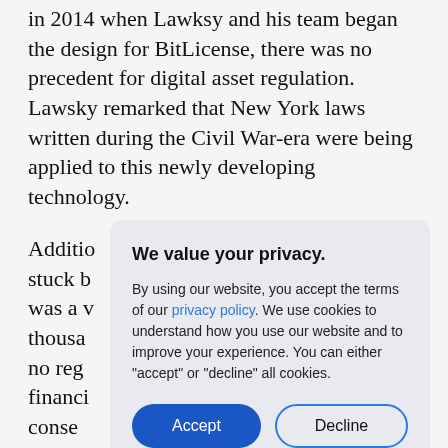in 2014 when Lawksy and his team began the design for BitLicense, there was no precedent for digital asset regulation. Lawsky remarked that New York laws written during the Civil War-era were being applied to this newly developing technology.
Additio... stuck b... was a v... thousa... no reg... financi... conse... have,"
On reflection, Lawsky considers BitLicense
[Figure (other): Cookie consent modal dialog with title 'We value your privacy.', body text about privacy policy and cookies, and two buttons: 'Accept' (filled blue) and 'Decline' (outlined).]